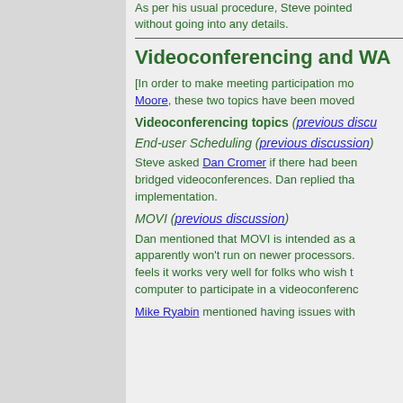As per his usual procedure, Steve pointed without going into any details.
Videoconferencing and WA
[In order to make meeting participation mo Moore, these two topics have been moved
Videoconferencing topics (previous discu
End-user Scheduling (previous discussion)
Steve asked Dan Cromer if there had been bridged videoconferences. Dan replied tha implementation.
MOVI (previous discussion)
Dan mentioned that MOVI is intended as a apparently won't run on newer processors. feels it works very well for folks who wish t computer to participate in a videoconferenc
Mike Ryabin mentioned having issues with